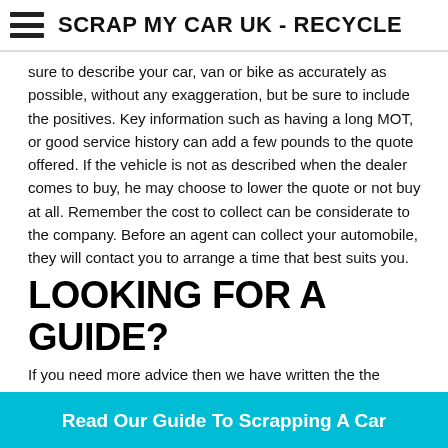SCRAP MY CAR UK - RECYCLE
sure to describe your car, van or bike as accurately as possible, without any exaggeration, but be sure to include the positives. Key information such as having a long MOT, or good service history can add a few pounds to the quote offered. If the vehicle is not as described when the dealer comes to buy, he may choose to lower the quote or not buy at all. Remember the cost to collect can be considerate to the company. Before an agent can collect your automobile, they will contact you to arrange a time that best suits you.
LOOKING FOR A GUIDE?
If you need more advice then we have written the the definitive guide.
Read Our Guide To Scrapping A Car